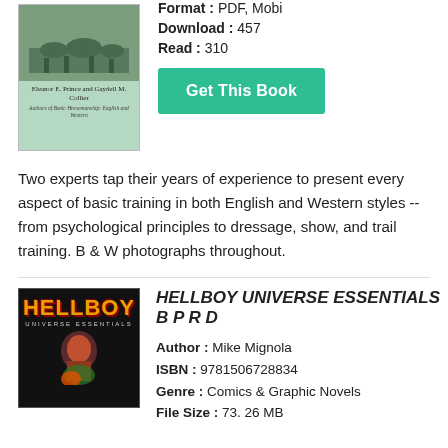[Figure (photo): Book cover with light green background, showing horses/equestrian image, authors Eleanor E. Prince and Gaydell M. Collier]
Format : PDF, Mobi
Download : 457
Read : 310
Get This Book
Two experts tap their years of experience to present every aspect of basic training in both English and Western styles -- from psychological principles to dressage, show, and trail training. B & W photographs throughout.
[Figure (photo): Hellboy Universe Essentials book cover with dark background, yellow/red Hellboy title text, and illustrated figure]
HELLBOY UNIVERSE ESSENTIALS B P R D
Author : Mike Mignola
ISBN : 9781506728834
Genre : Comics & Graphic Novels
File Size : 73. 26 MB